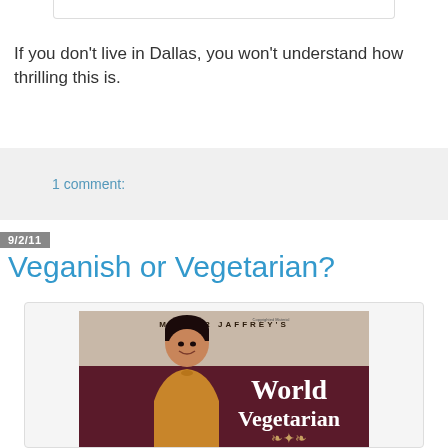[Figure (other): Top portion of a framed/boxed UI element, partially cut off at top of page]
If you don't live in Dallas, you won't understand how thrilling this is.
1 comment:
9/2/11
Veganish or Vegetarian?
[Figure (photo): Book cover of 'Madhur Jaffrey's World Vegetarian' showing a woman smiling with dark hair, wearing a golden shawl, with the book title in white text on a dark maroon background]